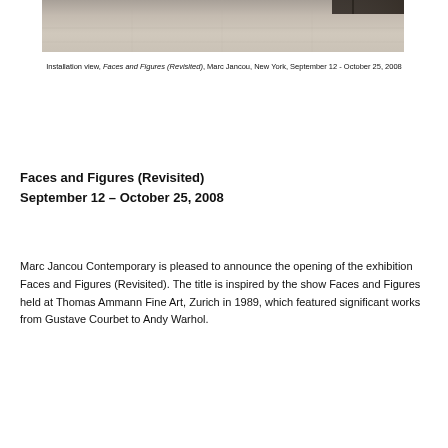[Figure (photo): Installation view of a gallery space showing the lower portion of artworks and a light wood floor]
Installation view, Faces and Figures (Revisited), Marc Jancou, New York, September 12 - October 25, 2008
Faces and Figures (Revisited)
September 12 – October 25, 2008
Marc Jancou Contemporary is pleased to announce the opening of the exhibition Faces and Figures (Revisited). The title is inspired by the show Faces and Figures held at Thomas Ammann Fine Art, Zurich in 1989, which featured significant works from Gustave Courbet to Andy Warhol.